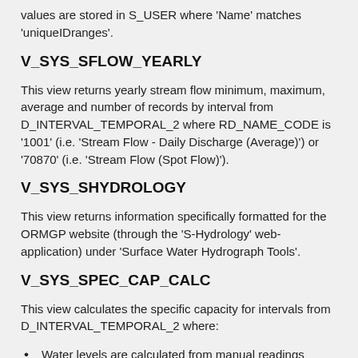values are stored in S_USER where 'Name' matches 'uniqueIDranges'.
V_SYS_SFLOW_YEARLY
This view returns yearly stream flow minimum, maximum, average and number of records by interval from D_INTERVAL_TEMPORAL_2 where RD_NAME_CODE is '1001' (i.e. 'Stream Flow - Daily Discharge (Average)') or '70870' (i.e. 'Stream Flow (Spot Flow)').
V_SYS_SHYDROLOGY
This view returns information specifically formatted for the ORMGP website (through the 'S-Hydrology' web-application) under 'Surface Water Hydrograph Tools'.
V_SYS_SPEC_CAP_CALC
This view calculates the specific capacity for intervals from D_INTERVAL_TEMPORAL_2 where:
Water levels are calculated from manual readings where